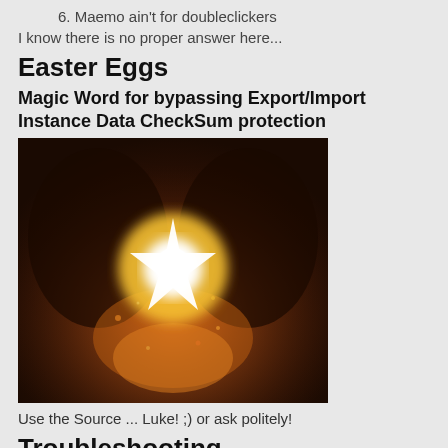6. Maemo ain't for doubleclickers
I know there is no proper answer here...
Easter Eggs
Magic Word for bypassing Export/Import Instance Data CheckSum protection
[Figure (photo): Dark fantasy/dramatic image showing a glowing star or light burst shape with orange and white glow against a dark background, suggesting mystical energy]
Use the Source ... Luke! ;) or ask politely!
Troubleshooting
Startup
If you are having issues at widget startup because of improper "U... Widget/System Startup" settings:
Open up X Terminal (or SSH/Putty into N900) and issue the... commands: